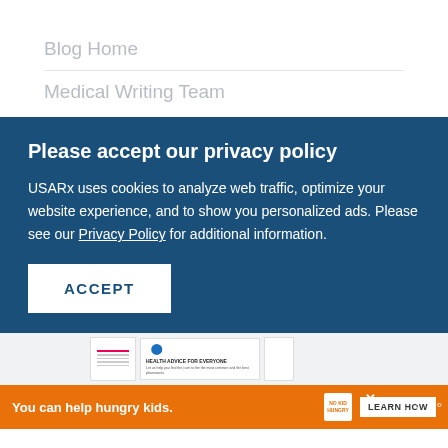Blog Home
Medical Writing Team
Please accept our privacy policy
USARx uses cookies to analyze web traffic, optimize your website experience, and to show you personalized ads. Please see our Privacy Policy for additional information.
ACCEPT
[Figure (screenshot): Partial view of document thumbnails in a light gray strip]
You can help hungry kids.  NO KID HUNGRY  LEARN HOW